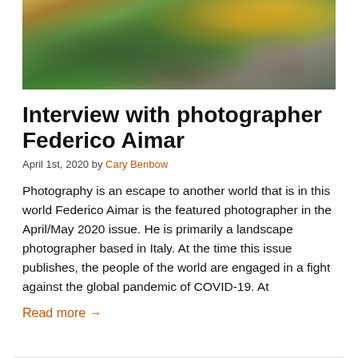[Figure (photo): Landscape photograph of a mountainside with green grassy hills, rocky ruins of a stone structure at top, warm golden light on upper right suggesting sunrise or sunset]
Interview with photographer Federico Aimar
April 1st, 2020 by Cary Benbow
Photography is an escape to another world that is in this world Federico Aimar is the featured photographer in the April/May 2020 issue. He is primarily a landscape photographer based in Italy. At the time this issue publishes, the people of the world are engaged in a fight against the global pandemic of COVID-19. At
Read more →